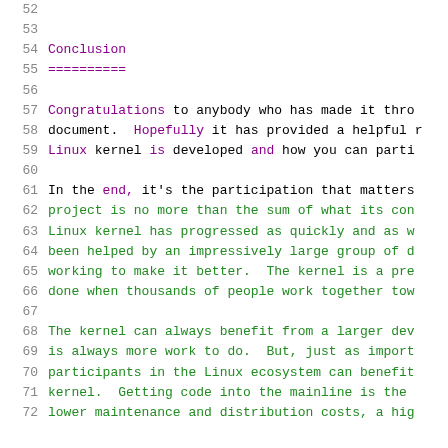52
53
54  Conclusion
55  ==========
56
57  Congratulations to anybody who has made it thro...
58  document.  Hopefully it has provided a helpful r...
59  Linux kernel is developed and how you can parti...
60
61  In the end, it's the participation that matters...
62  project is no more than the sum of what its con...
63  Linux kernel has progressed as quickly and as w...
64  been helped by an impressively large group of d...
65  working to make it better.  The kernel is a pre...
66  done when thousands of people work together tow...
67
68  The kernel can always benefit from a larger dev...
69  is always more work to do.  But, just as import...
70  participants in the Linux ecosystem can benefit ...
71  kernel.  Getting code into the mainline is the ...
72  lower maintenance and distribution costs, a hig...